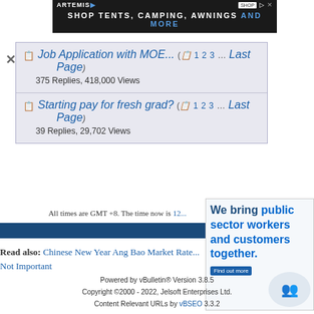[Figure (screenshot): Advertisement banner for Artemis: Shop Tents, Camping, Awnings AND MORE]
Job Application with MOE... (1 2 3… Last Page) — 375 Replies, 418,000 Views
Starting pay for fresh grad? (1 2 3… Last Page) — 39 Replies, 29,702 Views
All times are GMT +8. The time now is 12...
Read also: Chinese Chinese New Year Ang Bao Market Rate... Not Important
[Figure (screenshot): Salesforce ad: We bring public sector workers and customers together. Find out more.]
Powered by vBulletin® Version 3.8.5
Copyright ©2000 - 2022, Jelsoft Enterprises Ltd.
Content Relevant URLs by vBSEO 3.3.2